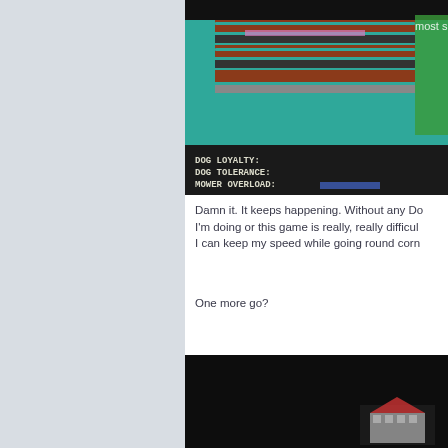[Figure (screenshot): Screenshot of a retro video game screen showing stats: DOG LOYALTY:, DOG TOLERANCE:, MOWER OVERLOAD: with a teal/black pixel art background and text 'most s' partially visible]
Damn it. It keeps happening. Without any Do I'm doing or this game is really, really difficul I can keep my speed while going round corn
One more go?
[Figure (screenshot): Screenshot of a retro video game, mostly dark/black screen with a small pixel art element visible at the bottom right corner]